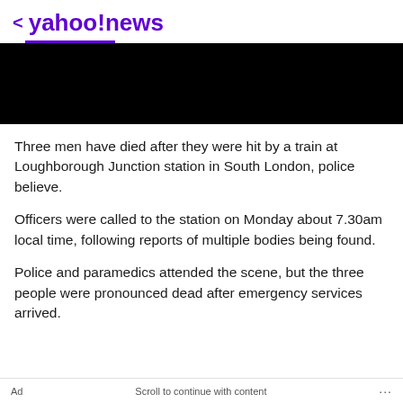< yahoo!news
[Figure (photo): Black rectangle representing an image/video placeholder]
Three men have died after they were hit by a train at Loughborough Junction station in South London, police believe.
Officers were called to the station on Monday about 7.30am local time, following reports of multiple bodies being found.
Police and paramedics attended the scene, but the three people were pronounced dead after emergency services arrived.
Ad   Scroll to continue with content   ...